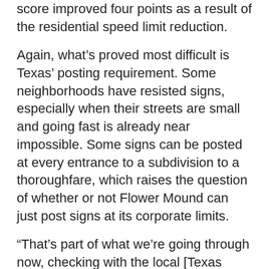score improved four points as a result of the residential speed limit reduction.
Again, what’s proved most difficult is Texas’ posting requirement. Some neighborhoods have resisted signs, especially when their streets are small and going fast is already near impossible. Some signs can be posted at every entrance to a subdivision to a thoroughfare, which raises the question of whether or not Flower Mound can just post signs at its corporate limits.
“That’s part of what we’re going through now, checking with the local [Texas Department of Transportation] TxDot folks,” said Hotelling. “I’m not sure if we’re going to get the green light.”